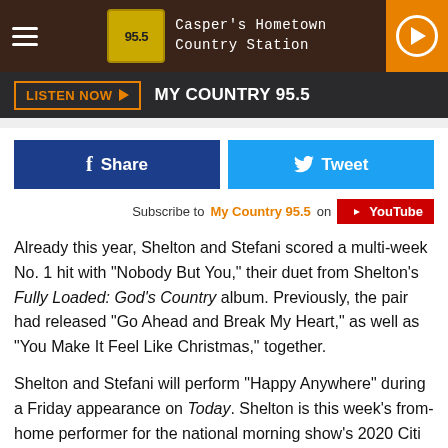95.5 Casper's Hometown Country Station
LISTEN NOW  MY COUNTRY 95.5
Share  Tweet
Subscribe to My Country 95.5 on YouTube
Already this year, Shelton and Stefani scored a multi-week No. 1 hit with "Nobody But You," their duet from Shelton's Fully Loaded: God's Country album. Previously, the pair had released "Go Ahead and Break My Heart," as well as "You Make It Feel Like Christmas," together.
Shelton and Stefani will perform "Happy Anywhere" during a Friday appearance on Today. Shelton is this week's from-home performer for the national morning show's 2020 Citi Music Series.